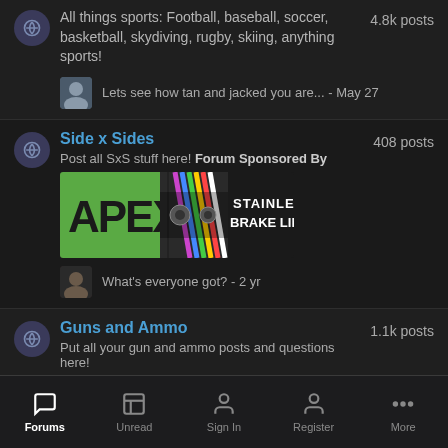All things sports: Football, baseball, soccer, basketball, skydiving, rugby, skiing, anything sports! — 4.8k posts
Lets see how tan and jacked you are... - May 27
Side x Sides
Post all SxS stuff here! Forum Sponsored By — 408 posts
[Figure (other): Apex Stainless Brake Lines sponsor banner advertisement]
What's everyone got? - 2 yr
Guns and Ammo
Put all your gun and ammo posts and questions here! — 1.1k posts
guns - 2 yr
Forums | Unread | Sign In | Register | More